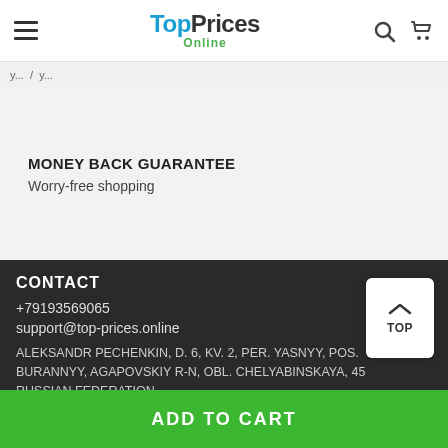TopPrices Online
MONEY BACK GUARANTEE
Worry-free shopping
CONTACT
+79193569065
support@top-prices.online
ALEKSANDR PECHENKIN, D. 6, KV. 2, PER. YASNYY, POS. BURANNYY, AGAPOVSKIY R-N, OBL. CHELYABINSKAYA, 45... RUSSIAN FEDERATION.
ADD TO CART